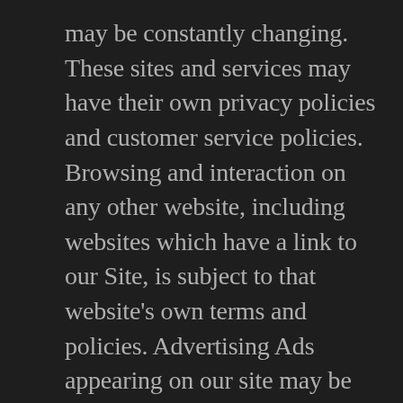may be constantly changing. These sites and services may have their own privacy policies and customer service policies. Browsing and interaction on any other website, including websites which have a link to our Site, is subject to that website's own terms and policies. Advertising Ads appearing on our site may be delivered to Users by advertising partners, who may set cookies. These